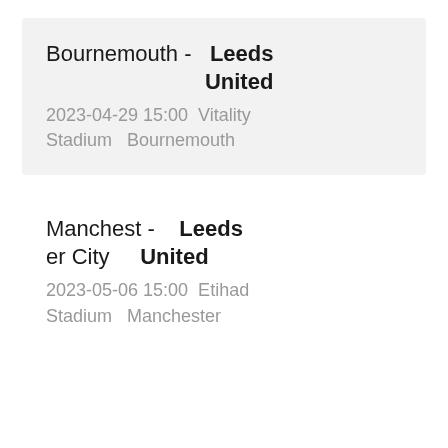Bournemouth - Leeds United
2023-04-29 15:00  Vitality Stadium  Bournemouth
Manchester City - Leeds United
2023-05-06 15:00  Etihad Stadium  Manchester